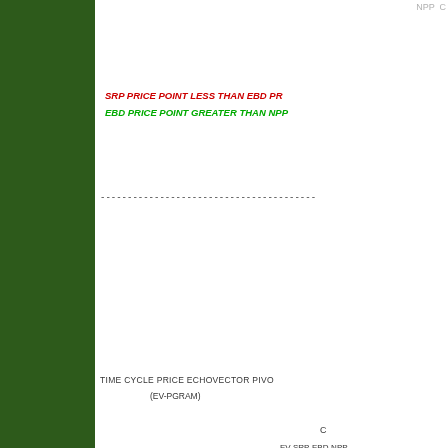NPP C
SRP PRICE POINT LESS THAN EBD PR
EBD PRICE POINT GREATER THAN NPP
-----------------------------------
TIME CYCLE PRICE ECHOVECTOR PIVO
(EV-PGRAM)
[Figure (engineering-diagram): EchoVector pivot diagram showing NPP, EBD, C points with arrows indicating bull resistance directions. Labels include EV-SRP-EBD-NPP-, NPP with upward arrow, EBD with leftward arrow, npp env resistance in green/red italic text, DIAGRAM C in red bold, BULL RESISTANCE in black bold.]